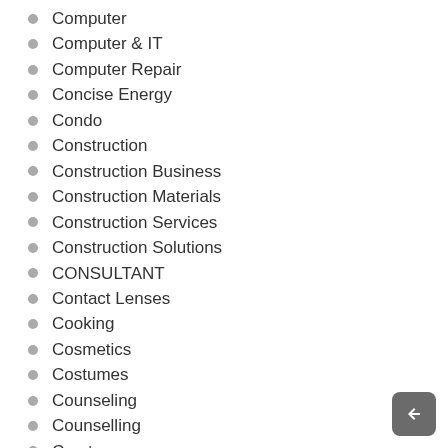Computer
Computer & IT
Computer Repair
Concise Energy
Condo
Construction
Construction Business
Construction Materials
Construction Services
Construction Solutions
CONSULTANT
Contact Lenses
Cooking
Cosmetics
Costumes
Counseling
Counselling
Cryptocurrency
Data
Delivery Services
Dental Care
Dental Facility
Dental Services